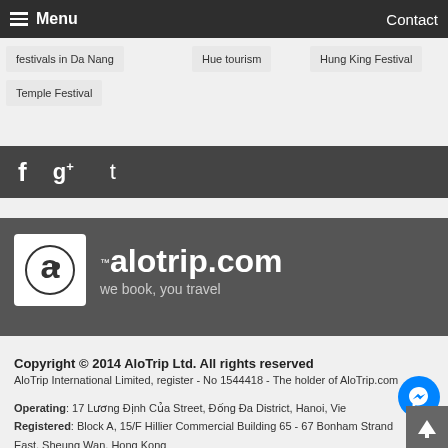Menu   Contact
festivals in Da Nang
Hue tourism
Hung King Festival
Hung
Temple Festival
[Figure (logo): Social media bar with Facebook, Google+, and Twitter icons on dark background]
[Figure (logo): Alotrip.com logo on dark gray background with tagline 'we book, you travel']
Copyright © 2014 AloTrip Ltd. All rights reserved
AloTrip International Limited, register - No 1544418 - The holder of AloTrip.com
Operating: 17 Lương Định Của Street, Đống Đa District, Hanoi, Vie…
Registered: Block A, 15/F Hillier Commercial Building 65 - 67 Bonham Strand East, Sheung Wan, Hong Kong